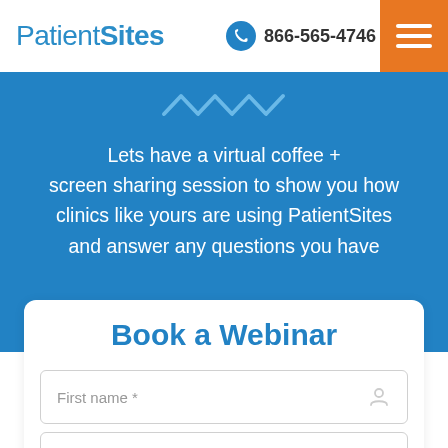PatientSites | 866-565-4746
Lets have a virtual coffee + screen sharing session to show you how clinics like yours are using PatientSites and answer any questions you have
Book a Webinar
First name *
Company name *